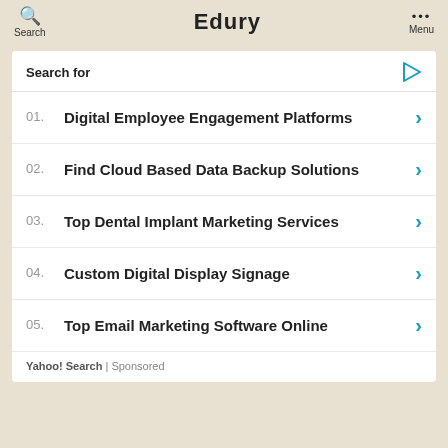Search  Edury  Menu
Search for
01. Digital Employee Engagement Platforms
02. Find Cloud Based Data Backup Solutions
03. Top Dental Implant Marketing Services
04. Custom Digital Display Signage
05. Top Email Marketing Software Online
Yahoo! Search | Sponsored